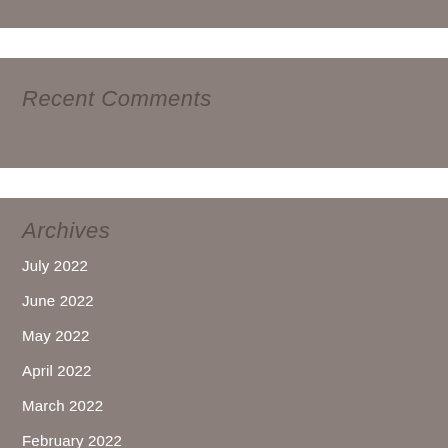Recent Comments
Archives
July 2022
June 2022
May 2022
April 2022
March 2022
February 2022
January 2022
December 2021